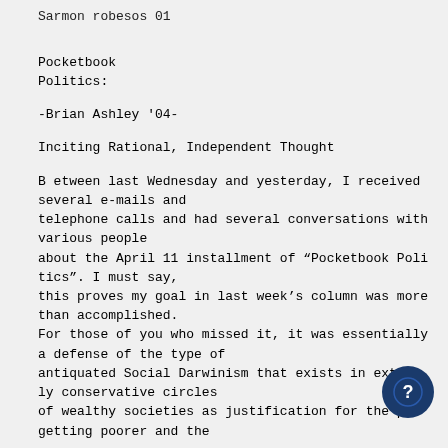Sarmon robesos 01
Pocketbook Politics:
-Brian Ashley '04-
Inciting Rational, Independent Thought
B etween last Wednesday and yesterday, I received several e-mails and telephone calls and had several conversations with various people about the April 11 installment of “Pocketbook Politics”. I must say, this proves my goal in last week’s column was more than accomplished. For those of you who missed it, it was essentially a defense of the type of antiquated Social Darwinism that exists in extremely conservative circles of wealthy societies as justification for the p getting poorer and the